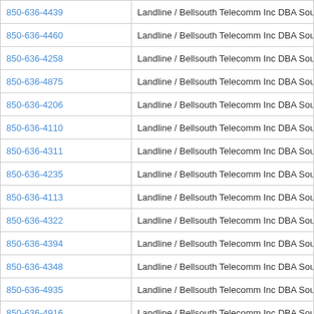| Phone | Type / Carrier |
| --- | --- |
| 850-636-4439 | Landline / Bellsouth Telecomm Inc DBA Southern Bell Tel & Tel |
| 850-636-4460 | Landline / Bellsouth Telecomm Inc DBA Southern Bell Tel & Tel |
| 850-636-4258 | Landline / Bellsouth Telecomm Inc DBA Southern Bell Tel & Tel |
| 850-636-4875 | Landline / Bellsouth Telecomm Inc DBA Southern Bell Tel & Tel |
| 850-636-4206 | Landline / Bellsouth Telecomm Inc DBA Southern Bell Tel & Tel |
| 850-636-4110 | Landline / Bellsouth Telecomm Inc DBA Southern Bell Tel & Tel |
| 850-636-4311 | Landline / Bellsouth Telecomm Inc DBA Southern Bell Tel & Tel |
| 850-636-4235 | Landline / Bellsouth Telecomm Inc DBA Southern Bell Tel & Tel |
| 850-636-4113 | Landline / Bellsouth Telecomm Inc DBA Southern Bell Tel & Tel |
| 850-636-4322 | Landline / Bellsouth Telecomm Inc DBA Southern Bell Tel & Tel |
| 850-636-4394 | Landline / Bellsouth Telecomm Inc DBA Southern Bell Tel & Tel |
| 850-636-4348 | Landline / Bellsouth Telecomm Inc DBA Southern Bell Tel & Tel |
| 850-636-4935 | Landline / Bellsouth Telecomm Inc DBA Southern Bell Tel & Tel |
| 850-636-4916 | Landline / Bellsouth Telecomm Inc DBA Southern Bell Tel & Tel |
| 850-636-4584 | Landline / Bellsouth Telecomm Inc DBA Southern Bell Tel & Tel |
| 850-636-4418 | Landline / Bellsouth Telecomm Inc DBA Southern Bell Bell |
| 850-636-4829 | Landline / Bellsouth Telecomm Inc DBA Southern Bell Tel & Tel |
| 850-636-4879 | Landline / Bellsouth Telecomm Inc DBA Southern Bell Tel & Tel |
| 850-636-4012 | Landline / Bellsouth Telecomm Inc DBA Southern Bell Tel & Tel |